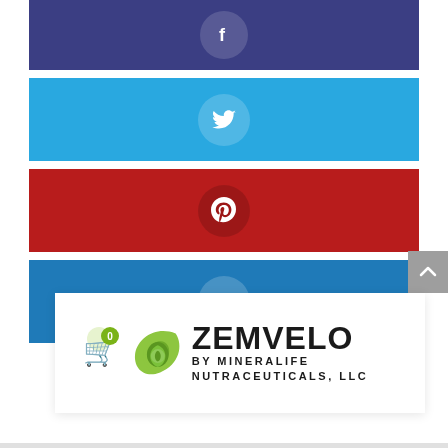[Figure (infographic): Facebook social share button bar, dark blue/purple color with white Facebook 'f' icon in a circle]
[Figure (infographic): Twitter social share button bar, light blue color with white Twitter bird icon in a circle]
[Figure (infographic): Pinterest social share button bar, red color with white Pinterest 'P' icon in a circle]
[Figure (infographic): LinkedIn social share button bar, blue color with white LinkedIn 'in' icon in a circle]
[Figure (logo): Zemvelo by Mineralife Nutraceuticals, LLC logo with green leaf/circle graphic and shopping basket icon with badge showing 0]
[Figure (infographic): Scroll-to-top button, grey square with white chevron up arrow]